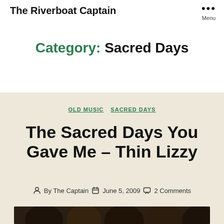The Riverboat Captain
Category: Sacred Days
OLD MUSIC  SACRED DAYS
The Sacred Days You Gave Me – Thin Lizzy
By The Captain  June 5, 2009  2 Comments
[Figure (photo): Black and white or dark-toned photograph of a band (Thin Lizzy) at the bottom of the page]